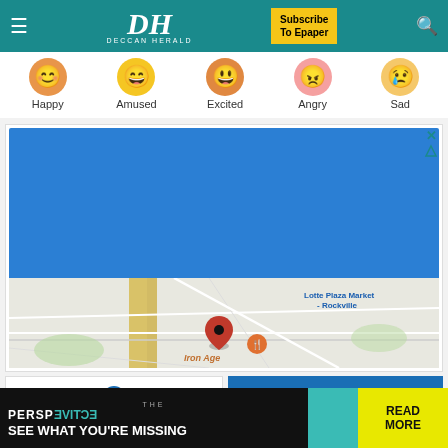DH DECCAN HERALD — Subscribe To Epaper
[Figure (other): Emoji reaction row with five circular emoji icons labeled Happy, Amused, Excited, Angry, Sad]
[Figure (map): Google map showing Iron Age restaurant location near Lotte Plaza Market - Rockville, with a red map pin and orange restaurant icon]
[Figure (other): Bottom advertisement banner: THE PERSPECTIVE mirror logo, text SEE WHAT YOU'RE MISSING, teal block, READ MORE yellow button]